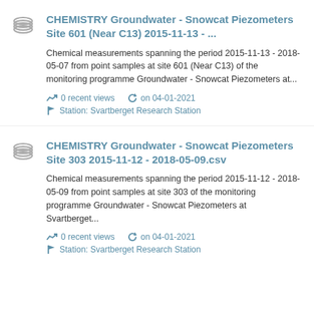CHEMISTRY Groundwater - Snowcat Piezometers Site 601 (Near C13) 2015-11-13 - ...
Chemical measurements spanning the period 2015-11-13 - 2018-05-07 from point samples at site 601 (Near C13) of the monitoring programme Groundwater - Snowcat Piezometers at...
0 recent views   on 04-01-2021   Station: Svartberget Research Station
CHEMISTRY Groundwater - Snowcat Piezometers Site 303 2015-11-12 - 2018-05-09.csv
Chemical measurements spanning the period 2015-11-12 - 2018-05-09 from point samples at site 303 of the monitoring programme Groundwater - Snowcat Piezometers at Svartberget...
0 recent views   on 04-01-2021   Station: Svartberget Research Station